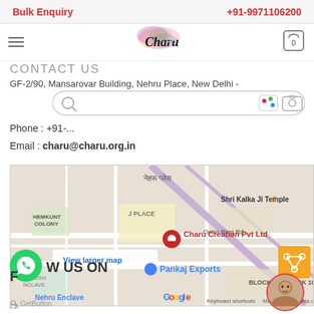Bulk Enquiry   +91-9971106200
[Figure (logo): Charu brand logo with colorful paint splash]
CONTACT US
GF-2/90, Mansarovar Building, Nehru Place, New Delhi -
Phone : +91-...
Email : charu@charu.org.in
[Figure (map): Google Maps showing Charu Creation Pvt Ltd location near Nehru Place, New Delhi. Markers show Charu Creation Pvt Ltd and Pankaj Exports. Landmarks: Shri Kalka Ji Temple, Hemkunt Colony, Outer Ring Rd, Block 1, Block 10, Nehru Enclave. Map data ©2022.]
FOLLOW US ON
[Figure (other): WhatsApp chat button (green circle with WhatsApp logo)]
GetButton